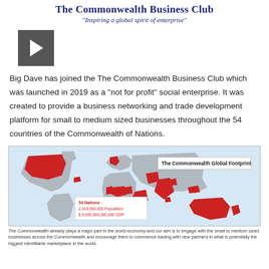The Commonwealth Business Club
"Inspiring a global spirit of enterprise"
[Figure (other): Video play button thumbnail]
Big Dave has joined the The Commonwealth Business Club which was launched in 2019 as a "not for profit" social enterprise. It was created to provide a business networking and trade development platform for small to medium sized businesses throughout the 54 countries of the Commonwealth of Nations.
[Figure (map): The Commonwealth Global Footprint - world map showing 54 Commonwealth nations highlighted in red. Inset box shows: 54 Nations, 2,418,904,000 Population, $9,000,000,000,000 GDP]
The Commonwealth already plays a major part in the world economy and our aim is to engage with the small to medium sized businesses across the Commonwealth and encourage them to commence trading with new partners in what is potentially the biggest identifiable marketplace in the world.